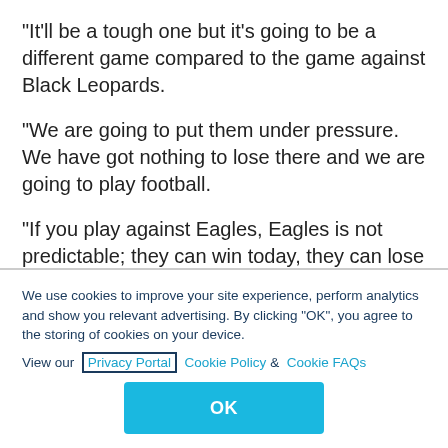"It'll be a tough one but it's going to be a different game compared to the game against Black Leopards.
"We are going to put them under pressure. We have got nothing to lose there and we are going to play football.
"If you play against Eagles, Eagles is not predictable; they can win today, they can lose tomorrow and sometimes they win but you don't know how they
We use cookies to improve your site experience, perform analytics and show you relevant advertising. By clicking "OK", you agree to the storing of cookies on your device. View our Privacy Portal Cookie Policy & Cookie FAQs
OK